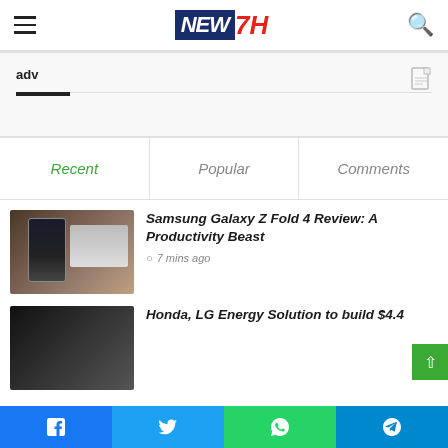NEW7H
adv
Recent | Popular | Comments
[Figure (photo): Samsung Galaxy Z Fold 4 smartphone standing next to a laptop on a desk]
Samsung Galaxy Z Fold 4 Review: A Productivity Beast
7 mins ago
[Figure (photo): Honda vehicle or motorcycle engine component close-up]
Honda, LG Energy Solution to build $4.4...